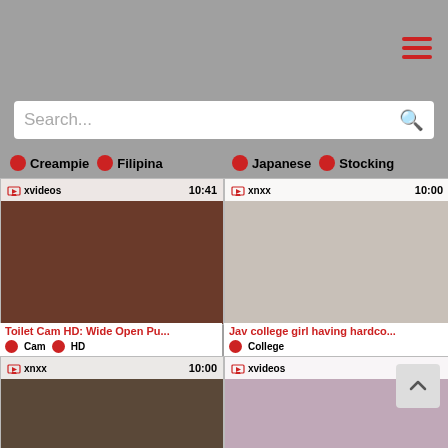[Figure (screenshot): Website screenshot of a video streaming site with search bar, category tags, and video thumbnail grid]
Search...
Creampie  Filipina
Japanese  Stocking
xvideos  10:41  Toilet Cam HD: Wide Open Pu...  Cam  HD
xnxx  10:00  Jav college girl having hardco...  College
xnxx  10:00
xvideos